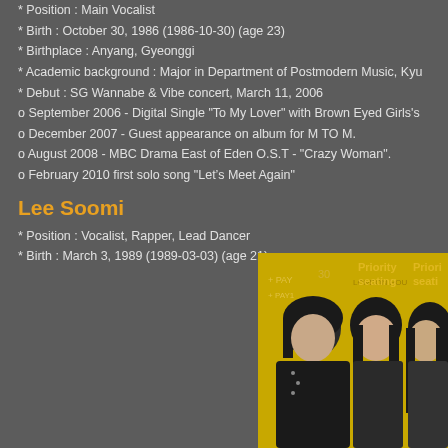* Position : Main Vocalist
* Birth : October 30, 1986 (1986-10-30) (age 23)
* Birthplace : Anyang, Gyeonggi
* Academic background : Major in Department of Postmodern Music, Kyu
* Debut : SG Wannabe & Vibe concert, March 11, 2006
o September 2006 - Digital Single "To My Lover" with Brown Eyed Girls's
o December 2007 - Guest appearance on album for M TO M.
o August 2008 - MBC Drama East of Eden O.S.T - "Crazy Woman".
o February 2010 first solo song "Let's Meet Again"
Lee Soomi
* Position : Vocalist, Rapper, Lead Dancer
* Birth : March 3, 1989 (1989-03-03) (age 21)
[Figure (photo): Black and white photo of three female K-pop group members against a yellow background with text including 'Priority seating' and 'LONDON']